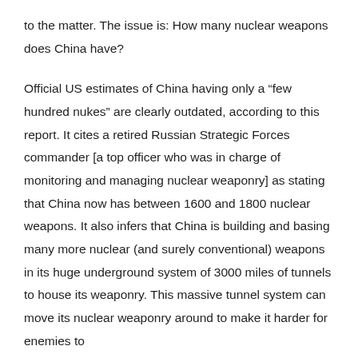to the matter. The issue is: How many nuclear weapons does China have?

Official US estimates of China having only a “few hundred nukes” are clearly outdated, according to this report. It cites a retired Russian Strategic Forces commander [a top officer who was in charge of monitoring and managing nuclear weaponry] as stating that China now has between 1600 and 1800 nuclear weapons. It also infers that China is building and basing many more nuclear (and surely conventional) weapons in its huge underground system of 3000 miles of tunnels to house its weaponry. This massive tunnel system can move its nuclear weaponry around to make it harder for enemies to